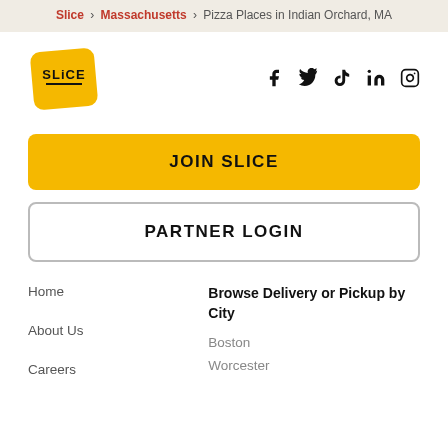Slice > Massachusetts > Pizza Places in Indian Orchard, MA
[Figure (logo): Slice yellow logo — rounded square with SLICE text]
Social media icons: Facebook, Twitter, TikTok, LinkedIn, Instagram
JOIN SLICE
PARTNER LOGIN
Home
Browse Delivery or Pickup by City
About Us
Boston
Careers
Worcester